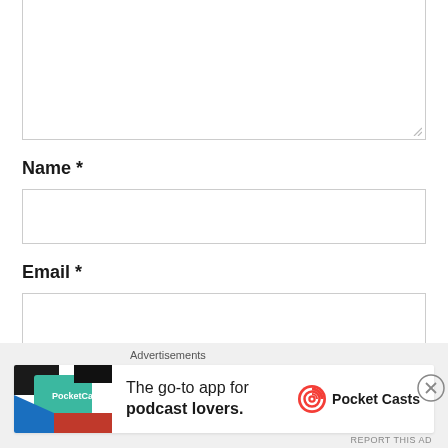[Figure (screenshot): A web comment form with a textarea (top, partially shown), followed by labeled input fields: Name *, Email *, and Website. At the bottom is an advertisement banner for Pocket Casts app with a close button and 'Advertisements' label.]
Name *
Email *
Website
Advertisements
The go-to app for podcast lovers.
Pocket Casts
REPORT THIS AD